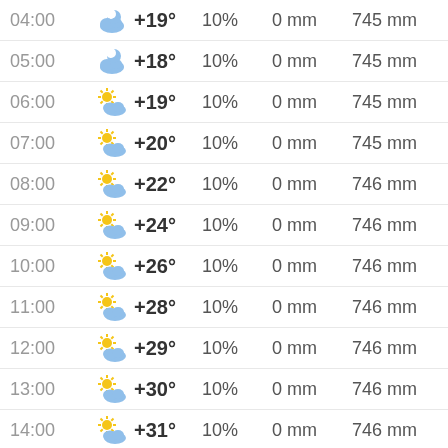| Time | Icon | Temp | Precip% | Rain | Pressure |
| --- | --- | --- | --- | --- | --- |
| 04:00 | cloudy-night | +19° | 10% | 0 mm | 745 mmHg |
| 05:00 | cloudy-night | +18° | 10% | 0 mm | 745 mmHg |
| 06:00 | partly-cloudy-day | +19° | 10% | 0 mm | 745 mmHg |
| 07:00 | partly-cloudy-day | +20° | 10% | 0 mm | 745 mmHg |
| 08:00 | partly-cloudy-day | +22° | 10% | 0 mm | 746 mmHg |
| 09:00 | partly-cloudy-day | +24° | 10% | 0 mm | 746 mmHg |
| 10:00 | partly-cloudy-day | +26° | 10% | 0 mm | 746 mmHg |
| 11:00 | partly-cloudy-day | +28° | 10% | 0 mm | 746 mmHg |
| 12:00 | partly-cloudy-day | +29° | 10% | 0 mm | 746 mmHg |
| 13:00 | partly-cloudy-day | +30° | 10% | 0 mm | 746 mmHg |
| 14:00 | partly-cloudy-day | +31° | 10% | 0 mm | 746 mmHg |